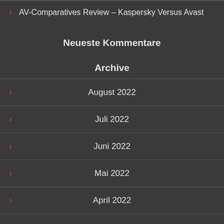AV-Comparatives Review – Kaspersky Versus Avast
Neueste Kommentare
Archive
August 2022
Juli 2022
Juni 2022
Mai 2022
April 2022
März 2022